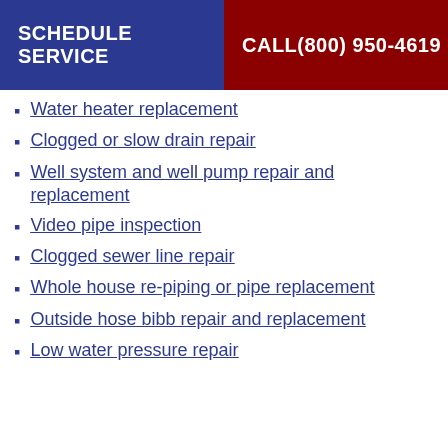SCHEDULE SERVICE | CALL(800) 950-4619
Water heater replacement
Clogged or slow drain repair
Well system and well pump repair and replacement
Video pipe inspection
Clogged sewer line repair
Whole house re-piping or pipe replacement
Outside hose bibb repair and replacement
Low water pressure repair